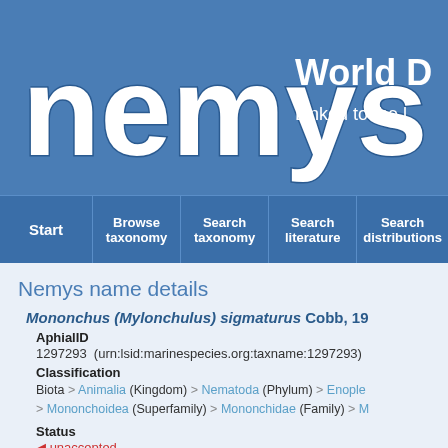[Figure (logo): Nemys logo with worm-shaped white text on blue background]
World D
Linked to the l
Start | Browse taxonomy | Search taxonomy | Search literature | Search distributions
Nemys name details
Mononchus (Mylonchulus) sigmaturus Cobb, 19...
AphialID
1297293  (urn:lsid:marinespecies.org:taxname:1297293)
Classification
Biota > Animalia (Kingdom) > Nematoda (Phylum) > Enople... > Mononchoidea (Superfamily) > Mononchidae (Family) > M...
Status
unaccepted